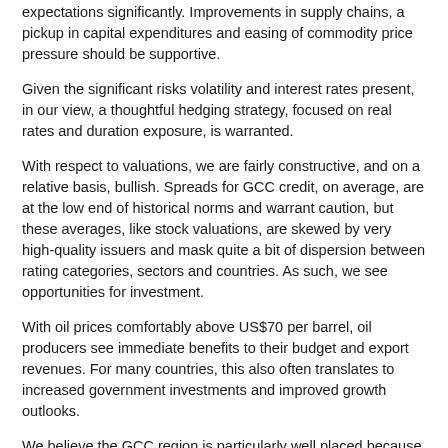expectations significantly. Improvements in supply chains, a pickup in capital expenditures and easing of commodity price pressure should be supportive.
Given the significant risks volatility and interest rates present, in our view, a thoughtful hedging strategy, focused on real rates and duration exposure, is warranted.
With respect to valuations, we are fairly constructive, and on a relative basis, bullish. Spreads for GCC credit, on average, are at the low end of historical norms and warrant caution, but these averages, like stock valuations, are skewed by very high-quality issuers and mask quite a bit of dispersion between rating categories, sectors and countries. As such, we see opportunities for investment.
With oil prices comfortably above US$70 per barrel, oil producers see immediate benefits to their budget and export revenues. For many countries, this also often translates to increased government investments and improved growth outlooks.
We believe the GCC region is particularly well placed because it is still a high-quality emerging market, its bonds are denominated in US dollars, and strength in oil prices may serve to insulate it